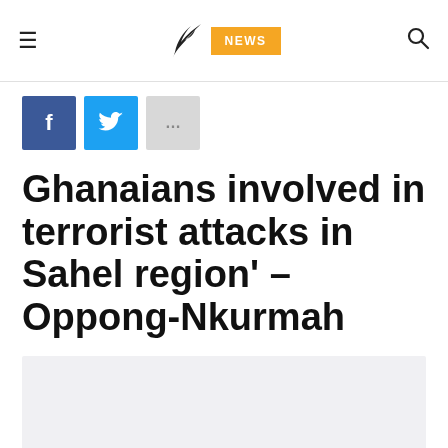≡  [logo bird]  NEWS  🔍
[Figure (logo): Social share buttons: Facebook (blue), Twitter (light blue), More (gray with ellipsis)]
Ghanaians involved in terrorist attacks in Sahel region' – Oppong-Nkurmah
[Figure (photo): Light gray image placeholder area]